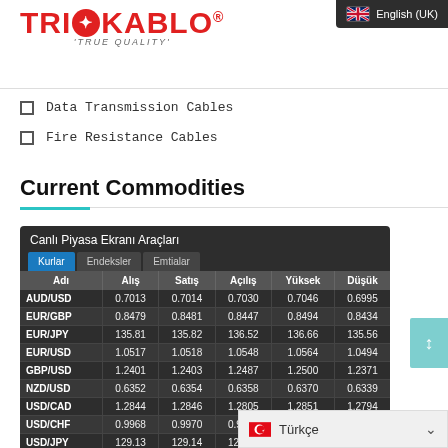[Figure (logo): TRIOKABLO logo with red text and gear icon, subtitle 'TRUE QUALITY']
[Figure (screenshot): English (UK) language selector button in dark bar, top right]
Data Transmission Cables
Fire Resistance Cables
Current Commodities
| Adı | Alış | Satış | Açılış | Yüksek | Düşük |
| --- | --- | --- | --- | --- | --- |
| AUD/USD | 0.7013 | 0.7014 | 0.7030 | 0.7046 | 0.6995 |
| EUR/GBP | 0.8479 | 0.8481 | 0.8447 | 0.8494 | 0.8434 |
| EUR/JPY | 135.81 | 135.82 | 136.52 | 136.66 | 135.56 |
| EUR/USD | 1.0517 | 1.0518 | 1.0548 | 1.0564 | 1.0494 |
| GBP/USD | 1.2401 | 1.2403 | 1.2487 | 1.2500 | 1.2371 |
| NZD/USD | 0.6352 | 0.6354 | 0.6358 | 0.6370 | 0.6339 |
| USD/CAD | 1.2844 | 1.2846 | 1.2805 | 1.2851 | 1.2794 |
| USD/CHF | 0.9968 | 0.9970 | 0.9936 | 0.9984 | 0.9923 |
| USD/JPY | 129.13 | 129.14 | 129.42 | 129.4… | … |
Türkçe